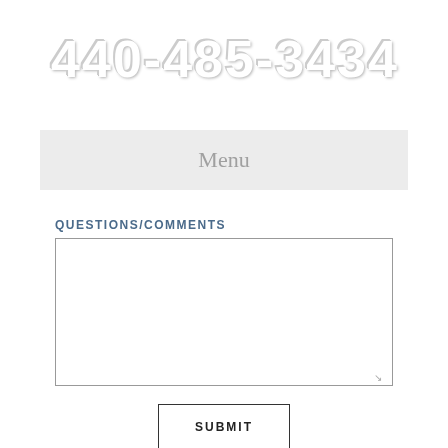440-485-3434
Menu
QUESTIONS/COMMENTS
[Figure (other): Empty textarea input box for questions/comments]
SUBMIT